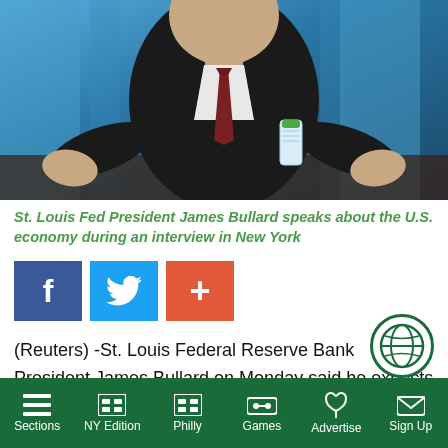[Figure (photo): St. Louis Fed President James Bullard gesturing with both hands during an interview, wearing a dark suit and red tie, with a water bottle on the table. Blue-toned office background.]
St. Louis Fed President James Bullard speaks about the U.S. economy during an interview in New York
[Figure (infographic): Social media share buttons: Facebook (blue), Twitter (light blue), and Google Plus (orange-red)]
(Reuters) -St. Louis Federal Reserve Bank President James Bullard on Monday said he expects the Fed to raise interest rates twice in 2022 after it wraps u
Sections | NY Edition | Philly | Games | Advertise | Sign Up